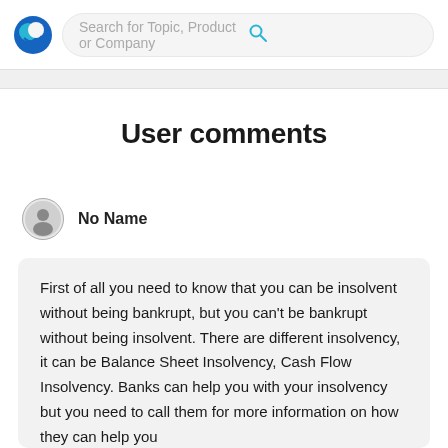Search for Topic, Product or Company
User comments
No Name
First of all you need to know that you can be insolvent without being bankrupt, but you can't be bankrupt without being insolvent. There are different insolvency, it can be Balance Sheet Insolvency, Cash Flow Insolvency. Banks can help you with your insolvency but you need to call them for more information on how they can help you